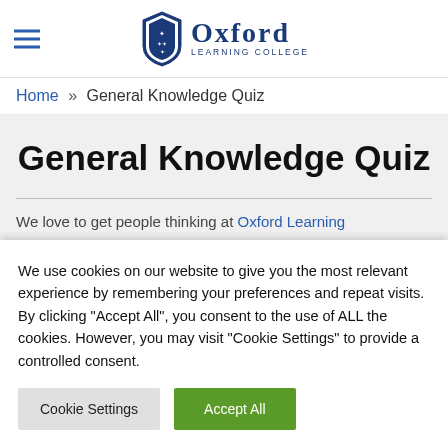Oxford Learning College
Home » General Knowledge Quiz
General Knowledge Quiz
We love to get people thinking at Oxford Learning
We use cookies on our website to give you the most relevant experience by remembering your preferences and repeat visits. By clicking "Accept All", you consent to the use of ALL the cookies. However, you may visit "Cookie Settings" to provide a controlled consent.